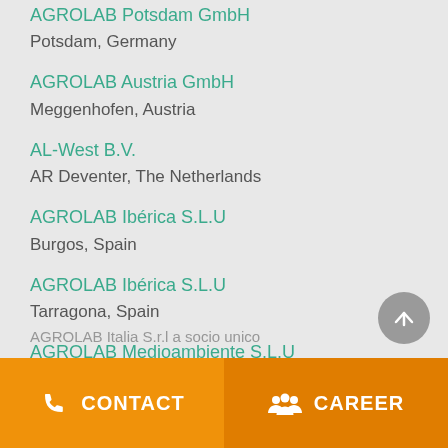AGROLAB Potsdam GmbH
Potsdam, Germany
AGROLAB Austria GmbH
Meggenhofen, Austria
AL-West B.V.
AR Deventer, The Netherlands
AGROLAB Ibérica S.L.U
Burgos, Spain
AGROLAB Ibérica S.L.U
Tarragona, Spain
AGROLAB Medioambiente S.L.U
Tarragona, Spain
AGROLAB Italia S.r.l a socio unico
CONTACT  CAREER